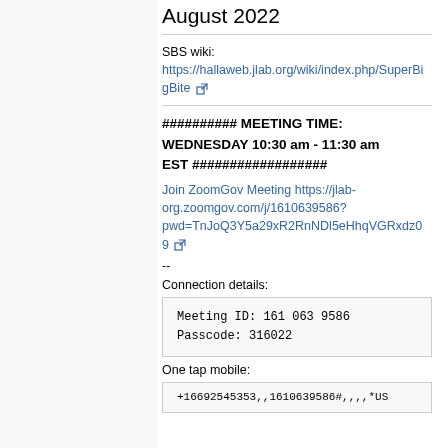August 2022
SBS wiki: https://hallaweb.jlab.org/wiki/index.php/SuperBigBite
########## MEETING TIME: WEDNESDAY 10:30 am - 11:30 am EST ##################
Join ZoomGov Meeting https://jlab-org.zoomgov.com/j/1610639586?pwd=TnJoQ3Y5a29xR2RnNDl5eHhqVGRxdz09
--
Connection details:
Meeting ID: 161 063 9586
Passcode: 316022
One tap mobile:
+16692545353,,1610639586#,,,,*US